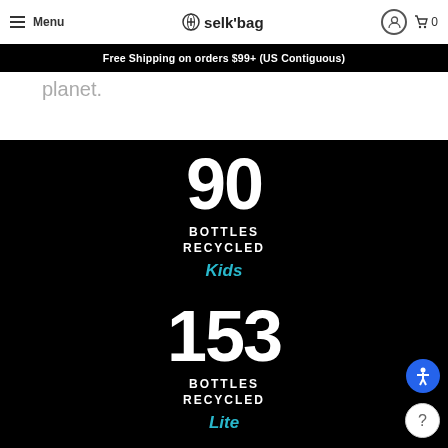selk'bag — Menu | Cart 0
Free Shipping on orders $99+ (US Contiguous)
planet.
90 BOTTLES RECYCLED Kids
153 BOTTLES RECYCLED Lite